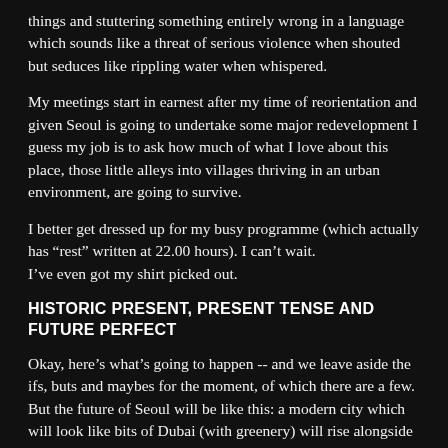things and stuttering something entirely wrong in a language which sounds like a threat of serious violence when shouted but seduces like rippling water when whispered.
My meetings start in earnest after my time of reorientation and given Seoul is going to undertake some major redevelopment I guess my job is to ask how much of what I love about this place, those little alleys into villages thriving in an urban environment, are going to survive.
I better get dressed up for my busy programme (which actually has “rest” written at 22.00 hours). I can’t wait.
I’ve even got my shirt picked out.
HISTORIC PRESENT, PRESENT TENSE AND FUTURE PERFECT
Okay, here’s what’s going to happen -- and we leave aside the ifs, buts and maybes for the moment, of which there are a few. But the future of Seoul will be like this: a modern city which will look like bits of Dubai (with greenery) will rise alongside the Hangang River and it will be fed by digital services, incorporate retail and